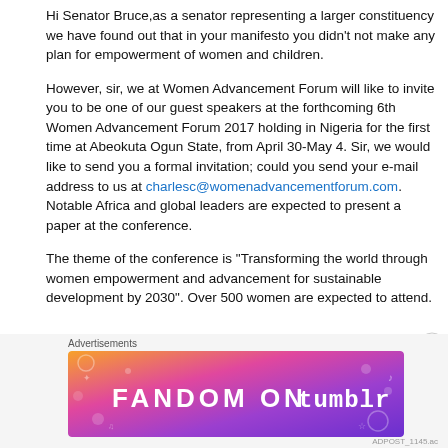Hi Senator Bruce,as a senator representing a larger constituency we have found out that in your manifesto you didn't not make any plan for empowerment of women and children.
However, sir, we at Women Advancement Forum will like to invite you to be one of our guest speakers at the forthcoming 6th Women Advancement Forum 2017 holding in Nigeria for the first time at Abeokuta Ogun State, from April 30-May 4. Sir, we would like to send you a formal invitation; could you send your e-mail address to us at charlesc@womenadvancementforum.com. Notable Africa and global leaders are expected to present a paper at the conference.
The theme of the conference is "Transforming the world through women empowerment and advancement for sustainable development by 2030". Over 500 women are expected to attend.
[Figure (other): Tumblr advertisement banner: colorful purple/orange/pink gradient background with illustrated doodles, text reads 'FANDOM ON tumblr']